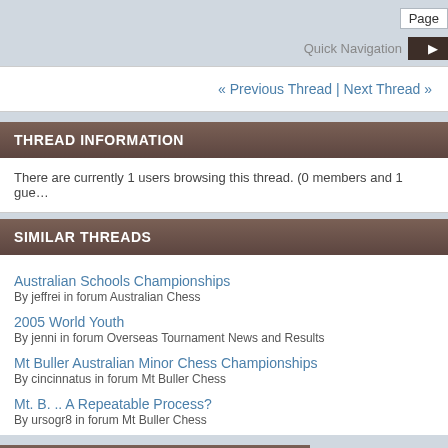Page
Quick Navigation
« Previous Thread | Next Thread »
THREAD INFORMATION
There are currently 1 users browsing this thread. (0 members and 1 gue…
SIMILAR THREADS
Australian Schools Championships
By jeffrei in forum Australian Chess
2005 World Youth
By jenni in forum Overseas Tournament News and Results
Mt Buller Australian Minor Chess Championships
By cincinnatus in forum Mt Buller Chess
Mt. B. .. A Repeatable Process?
By ursogr8 in forum Mt Buller Chess
POSTING PERMISSIONS